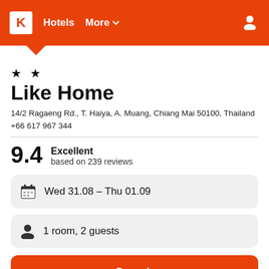K Hotels More
★ ★
Like Home
14/2 Ragaeng Rd., T. Haiya, A. Muang, Chiang Mai 50100, Thailand
+66 617 967 344
9.4  Excellent
based on 239 reviews
Wed 31.08  –  Thu 01.09
1 room, 2 guests
Search